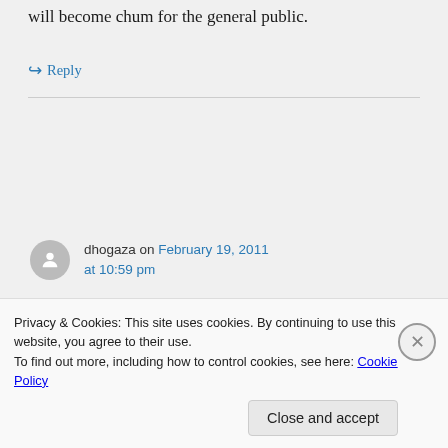will become chum for the general public.
↪ Reply
dhogaza on February 19, 2011 at 10:59 pm
It is at Bart's place, and I'm one of those guilty of responding to Fuller's
Privacy & Cookies: This site uses cookies. By continuing to use this website, you agree to their use.
To find out more, including how to control cookies, see here: Cookie Policy
Close and accept